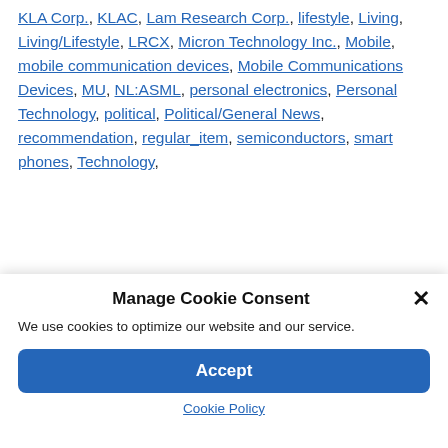KLA Corp., KLAC, Lam Research Corp., lifestyle, Living, Living/Lifestyle, LRCX, Micron Technology Inc., Mobile, mobile communication devices, Mobile Communications Devices, MU, NL:ASML, personal electronics, Personal Technology, political, Political/General News, recommendation, regular_item, semiconductors, smart phones, Technology,
Manage Cookie Consent
We use cookies to optimize our website and our service.
Accept
Cookie Policy